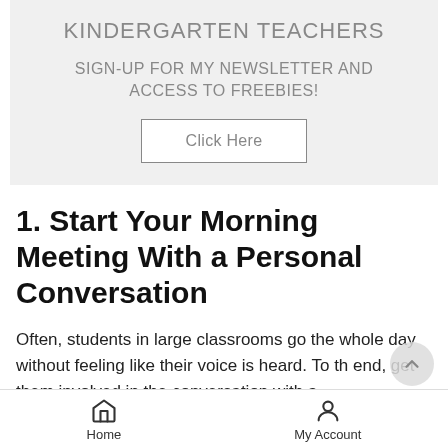KINDERGARTEN TEACHERS
SIGN-UP FOR MY NEWSLETTER AND ACCESS TO FREEBIES!
Click Here
1. Start Your Morning Meeting With a Personal Conversation
Often, students in large classrooms go the whole day without feeling like their voice is heard. To th end, get them involved in the conversation with a
Home   My Account